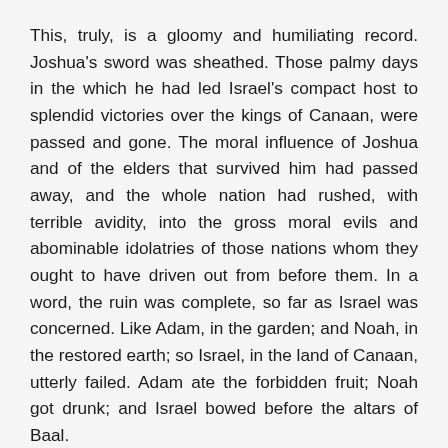This, truly, is a gloomy and humiliating record. Joshua's sword was sheathed. Those palmy days in the which he had led Israel's compact host to splendid victories over the kings of Canaan, were passed and gone. The moral influence of Joshua and of the elders that survived him had passed away, and the whole nation had rushed, with terrible avidity, into the gross moral evils and abominable idolatries of those nations whom they ought to have driven out from before them. In a word, the ruin was complete, so far as Israel was concerned. Like Adam, in the garden; and Noah, in the restored earth; so Israel, in the land of Canaan, utterly failed. Adam ate the forbidden fruit; Noah got drunk; and Israel bowed before the altars of Baal.
Thus much as to man. But, thank God, there is another side of the picture. There is what we may call a bright and beauteous "Nevertheless;" for God will be God, no matter what man may prove himself to be. This is an unspeakable relief and consolation to the heart. God abideth faithful. Here is faith's stronghold, come what may. God is always to be counted